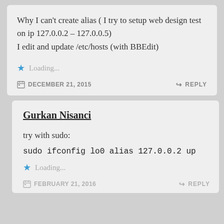Why I can't create alias ( I try to setup web design test on ip 127.0.0.2 – 127.0.0.5)
I edit and update /etc/hosts (with BBEdit)
Loading...
DECEMBER 21, 2015
REPLY
Gurkan Nisanci
try with sudo:
sudo ifconfig lo0 alias 127.0.0.2 up
Loading...
FEBRUARY 21, 2016
REPLY